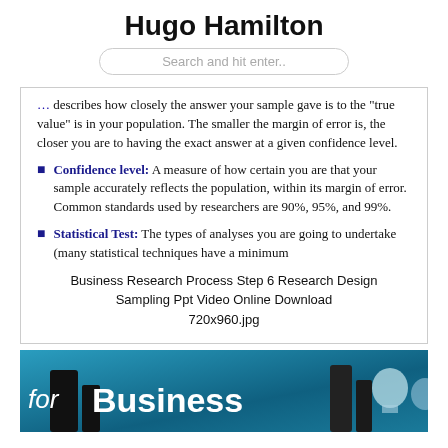Hugo Hamilton
Search and hit enter..
describes how closely the answer your sample gave is to the “true value” is in your population. The smaller the margin of error is, the closer you are to having the exact answer at a given confidence level.
Confidence level: A measure of how certain you are that your sample accurately reflects the population, within its margin of error. Common standards used by researchers are 90%, 95%, and 99%.
Statistical Test: The types of analyses you are going to undertake (many statistical techniques have a minimum
Business Research Process Step 6 Research Design Sampling Ppt Video Online Download
720x960.jpg
[Figure (photo): Partial image showing word 'for Business' text overlay on a blue-toned background with silhouettes]